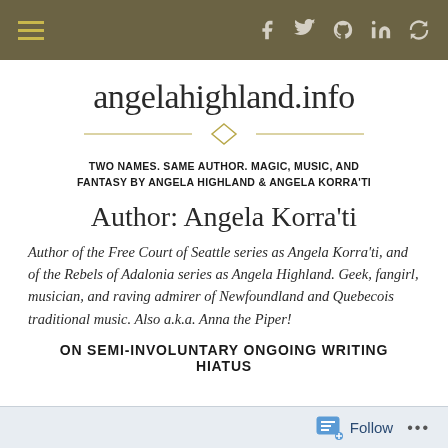angelahighland.info navigation bar with hamburger menu and social icons (Facebook, Twitter, GitHub, LinkedIn, refresh)
angelahighland.info
[Figure (illustration): Decorative diamond divider with horizontal lines on each side]
TWO NAMES. SAME AUTHOR. MAGIC, MUSIC, AND FANTASY BY ANGELA HIGHLAND & ANGELA KORRA'TI
Author: Angela Korra'ti
Author of the Free Court of Seattle series as Angela Korra'ti, and of the Rebels of Adalonia series as Angela Highland. Geek, fangirl, musician, and raving admirer of Newfoundland and Quebecois traditional music. Also a.k.a. Anna the Piper!
ON SEMI-INVOLUNTARY ONGOING WRITING HIATUS
Follow ...